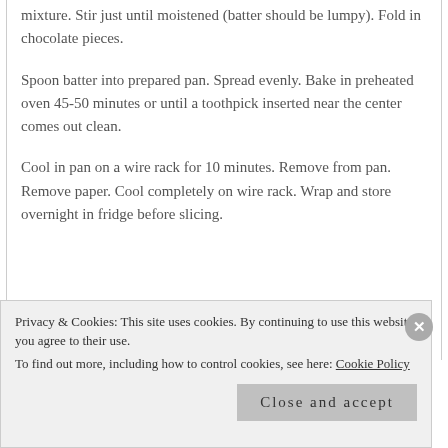mixture. Stir just until moistened (batter should be lumpy). Fold in chocolate pieces.
Spoon batter into prepared pan. Spread evenly. Bake in preheated oven 45-50 minutes or until a toothpick inserted near the center comes out clean.
Cool in pan on a wire rack for 10 minutes. Remove from pan. Remove paper. Cool completely on wire rack. Wrap and store overnight in fridge before slicing.
Privacy & Cookies: This site uses cookies. By continuing to use this website, you agree to their use.
To find out more, including how to control cookies, see here: Cookie Policy
Close and accept